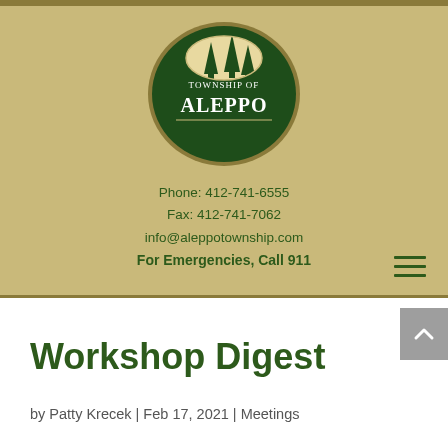[Figure (logo): Township of Aleppo oval logo with dark green background, white tree silhouettes at top, and white text reading 'TOWNSHIP OF ALEPPO']
Phone: 412-741-6555
Fax: 412-741-7062
info@aleppotownship.com
For Emergencies, Call 911
Workshop Digest
by Patty Krecek | Feb 17, 2021 | Meetings